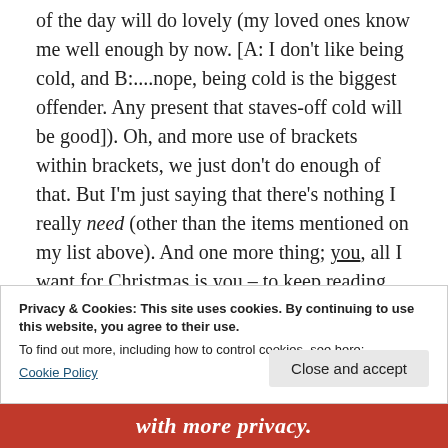of the day will do lovely (my loved ones know me well enough by now. [A: I don't like being cold, and B:....nope, being cold is the biggest offender. Any present that staves-off cold will be good]). Oh, and more use of brackets within brackets, we just don't do enough of that. But I'm just saying that there's nothing I really need (other than the items mentioned on my list above). And one more thing; you, all I want for Christmas is you – to keep reading this blog, even though I don't write often enough. Maybe catch up next week (I promise not to mention the
Privacy & Cookies: This site uses cookies. By continuing to use this website, you agree to their use.
To find out more, including how to control cookies, see here: Cookie Policy
Close and accept
with more privacy.